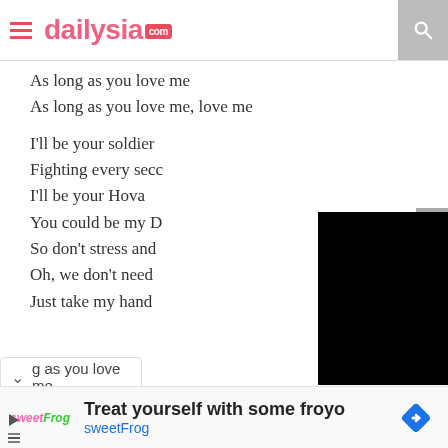dailysia.com
As long as you love me
As long as you love me, love me
I'll be your soldier
Fighting every secc
I'll be your Hova
You could be my D
So don't stress and
Oh, we don't need
Just take my hand
[Figure (screenshot): Black video player overlay covering right portion of lyric lines]
g as you love me
[Figure (infographic): Advertisement banner: Treat yourself with some froyo - sweetFrog logo on left, blue diamond arrow icon on right]